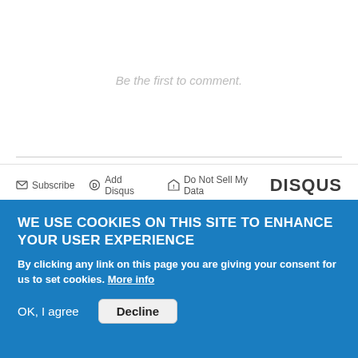Be the first to comment.
Subscribe  Add Disqus  Do Not Sell My Data  DISQUS
LATEST POSTS
Why do coniferous trees in the Pacific Northwest grow so fast, so large, and live so long?
August 23, 2022
WE USE COOKIES ON THIS SITE TO ENHANCE YOUR USER EXPERIENCE
By clicking any link on this page you are giving your consent for us to set cookies. More info
OK, I agree   Decline